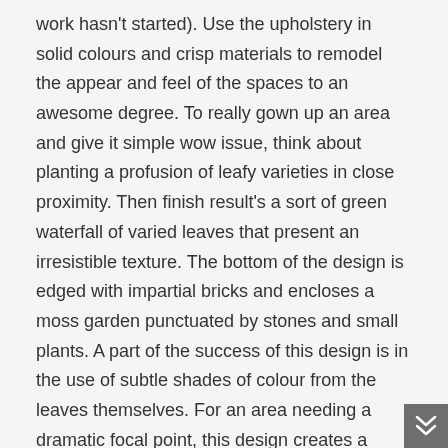work hasn't started). Use the upholstery in solid colours and crisp materials to remodel the appear and feel of the spaces to an awesome degree. To really gown up an area and give it simple wow issue, think about planting a profusion of leafy varieties in close proximity. Then finish result's a sort of green waterfall of varied leaves that present an irresistible texture. The bottom of the design is edged with impartial bricks and encloses a moss garden punctuated by stones and small plants. A part of the success of this design is in the use of subtle shades of colour from the leaves themselves. For an area needing a dramatic focal point, this design creates a commanding presence and would look especially pretty in a courtyard.
First, draw a field, noting the measurements on all